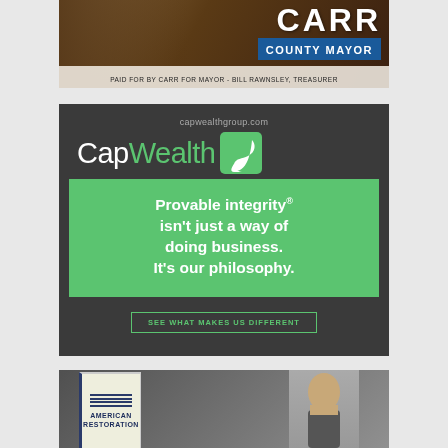[Figure (photo): Carr County Mayor political advertisement. Shows a horse in the background with large white text 'CARR' and a blue box reading 'COUNTY MAYOR'. Bottom banner: 'PAID FOR BY CARR FOR MAYOR - BILL RAWNSLEY, TREASURER']
[Figure (photo): CapWealth financial services advertisement on dark gray background. URL: capwealthgroup.com. Logo: 'CapWealth' with green swan icon. Green box with white bold text: 'Provable integrity® isn't just a way of doing business. It's our philosophy.' Button: 'SEE WHAT MAKES US DIFFERENT']
[Figure (photo): American Restoration book advertisement. Shows a book titled 'AMERICAN RESTORATION' with blue striped cover, alongside a man in a suit on a gray/outdoor background.]